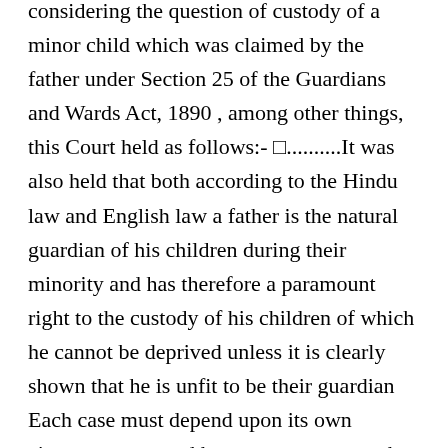considering the question of custody of a minor child which was claimed by the father under Section 25 of the Guardians and Wards Act, 1890 , among other things, this Court held as follows:- □..........It was also held that both according to the Hindu law and English law a father is the natural guardian of his children during their minority and has therefore a paramount right to the custody of his children of which he cannot be deprived unless it is clearly shown that he is unfit to be their guardian Each case must depend upon its own circumstances, and however paramount the right of a father may be, that right in our opinion is liable to be defeated where it is shown that it is better in the interests of the minor and for its welfare that it should remain